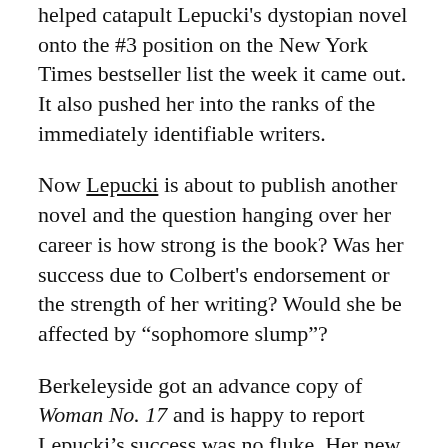helped catapult Lepucki's dystopian novel onto the #3 position on the New York Times bestseller list the week it came out. It also pushed her into the ranks of the immediately identifiable writers.
Now Lepucki is about to publish another novel and the question hanging over her career is how strong is the book? Was her success due to Colbert's endorsement or the strength of her writing? Would she be affected by “sophomore slump”?
Berkeleyside got an advance copy of Woman No. 17 and is happy to report Lepucki’s success was no fluke. Her new novel is both fun to read and asks serious questions about identity, art and motherhood. Lepucki will be speaking about the